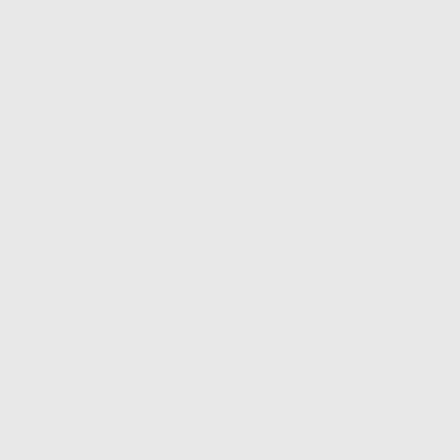percentages of microscopic plast... waste of money and one of the m... money. The business model is to... things that last as long as possib... to avoid mass extinction of the hu... skill, time and work to make a Ge... impossible to over-distribute and... clothing is going to cost more in t... are over-produced on speculation... natural resources. Micro-scale de... customers' exact needs in exclus...
I'm curious about how "micro" the micro-s... here. I don't think I've discarded more tha... and even those that I have have lasted c... exceptions I can think of have been adm... admirably until then.) None of it was proc... been ripping off reputable designers, anc... concerns are being addressed: quality of... being targeted to a niche customer's nee... particularly specific needs---disregarding... the clothes-wearing public in general, we... to spend a whole lot of time thinking abo... produced, etc., and only a few of those th... am I better off from a carbon standpoint g... given the source of the leather and the n...